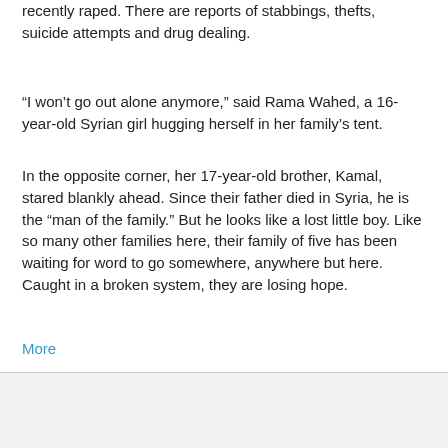recently raped. There are reports of stabbings, thefts, suicide attempts and drug dealing.
“I won’t go out alone anymore,” said Rama Wahed, a 16-year-old Syrian girl hugging herself in her family’s tent.
In the opposite corner, her 17-year-old brother, Kamal, stared blankly ahead. Since their father died in Syria, he is the “man of the family.” But he looks like a lost little boy. Like so many other families here, their family of five has been waiting for word to go somewhere, anywhere but here. Caught in a broken system, they are losing hope.
More
Yulie Foka-Kavalieraki at 8:55 AM    No comments:
Share
Friday, October 14, 2016
Syriza at odds with Orthodox clergy